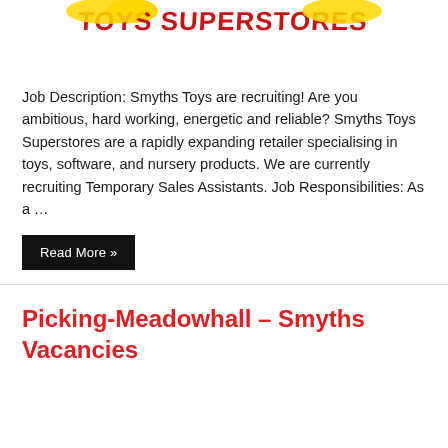[Figure (logo): Smyths Toys Superstores logo with yellow star/ribbon graphic and red text]
Job Description: Smyths Toys are recruiting! Are you ambitious, hard working, energetic and reliable? Smyths Toys Superstores are a rapidly expanding retailer specialising in toys, software, and nursery products. We are currently recruiting Temporary Sales Assistants. Job Responsibilities: As a …
Read More »
Picking-Meadowhall – Smyths Vacancies